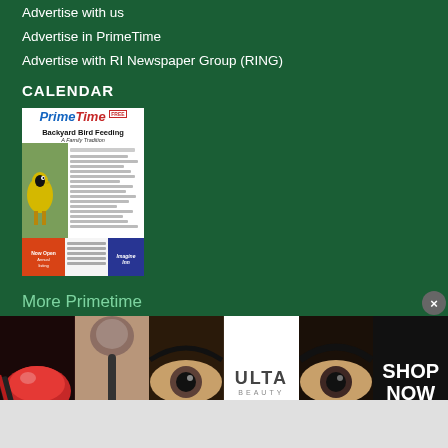Advertise with us
Advertise in PrimeTime
Advertise with RI Newspaper Group (RING)
CALENDAR
[Figure (photo): PrimeTime magazine cover featuring 'Backyard Bird Feeding: A Family Tradition' with a yellow bird image]
More Primetime
CALENDAR
[Figure (advertisement): Ulta Beauty advertisement banner with makeup/cosmetics imagery and SHOP NOW call to action]